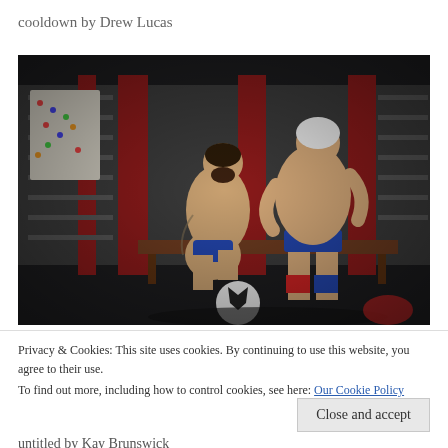cooldown by Drew Lucas
[Figure (illustration): 3D rendered illustration of two muscular male figures in a locker room setting with red and grey lockers. One figure kneels on a bench while the other stands above, both wearing minimal athletic clothing. A soccer ball is visible in the foreground.]
Privacy & Cookies: This site uses cookies. By continuing to use this website, you agree to their use.
To find out more, including how to control cookies, see here: Our Cookie Policy
Close and accept
untitled by Kay Brunswick